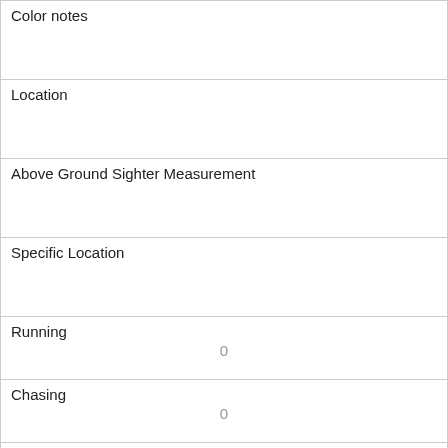| Color notes |  |
| Location |  |
| Above Ground Sighter Measurement |  |
| Specific Location |  |
| Running | 0 |
| Chasing | 0 |
| Climbing | 0 |
| Eating | 0 |
| Foraging | 1 |
| Other Activities |  |
| No... |  |